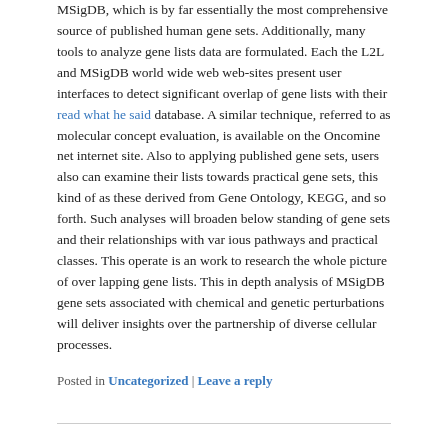MSigDB, which is by far essentially the most comprehensive source of published human gene sets. Additionally, many tools to analyze gene lists data are formulated. Each the L2L and MSigDB world wide web web-sites present user interfaces to detect significant overlap of gene lists with their read what he said database. A similar technique, referred to as molecular concept evaluation, is available on the Oncomine net internet site. Also to applying published gene sets, users also can examine their lists towards practical gene sets, this kind of as these derived from Gene Ontology, KEGG, and so forth. Such analyses will broaden below standing of gene sets and their relationships with var ious pathways and practical classes. This operate is an work to research the whole picture of over lapping gene lists. This in depth analysis of MSigDB gene sets associated with chemical and genetic perturbations will deliver insights over the partnership of diverse cellular processes.
Posted in Uncategorized | Leave a reply